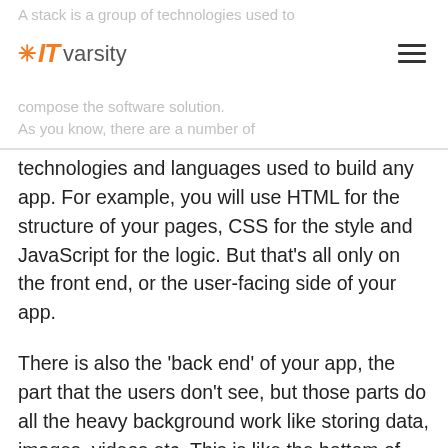A stack is a group of technologies used to compose the software solution. As you know, there are a number of
technologies and languages used to build any app. For example, you will use HTML for the structure of your pages, CSS for the style and JavaScript for the logic. But that's all only on the front end, or the user-facing side of your app.
There is also the ‘back end’ of your app, the part that the users don’t see, but those parts do all the heavy background work like storing data, images, videos etc. This is like the bottom of the iceberg.
The back end system can be built using any